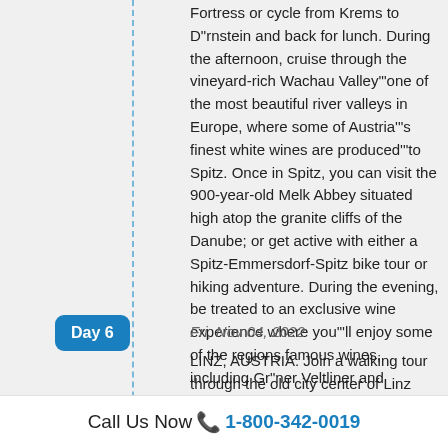Fortress or cycle from Krems to D"rnstein and back for lunch. During the afternoon, cruise through the vineyard-rich Wachau Valley""one of the most beautiful river valleys in Europe, where some of Austria""s finest white wines are produced""to Spitz. Once in Spitz, you can visit the 900-year-old Melk Abbey situated high atop the granite cliffs of the Danube; or get active with either a Spitz-Emmersdorf-Spitz bike tour or hiking adventure. During the evening, be treated to an exclusive wine experience where you""ll enjoy some of the regions famous wines, including Gr"ner Veltliner and Riesling. (B,L,D)
Day 6
Fri, Nov 04, 2022
LINZ, AUSTRIA. Join a walking tour through the old city center of Linz and by the Mozart House; or bike along the city""s famed ""Cultural Mile"" and the
Call Us Now 📞 1-800-342-0019